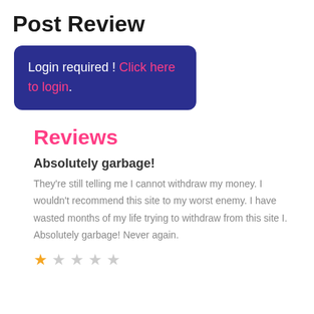Post Review
Login required ! Click here to login.
Reviews
Absolutely garbage!
They’re still telling me I cannot withdraw my money. I wouldn’t recommend this site to my worst enemy. I have wasted months of my life trying to withdraw from this site I. Absolutely garbage! Never again.
[Figure (other): Star rating: 1 out of 5 stars (one filled gold star, four empty grey stars)]